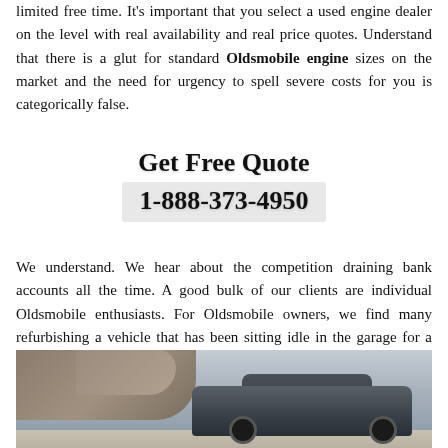limited free time. It's important that you select a used engine dealer on the level with real availability and real price quotes. Understand that there is a glut for standard Oldsmobile engine sizes on the market and the need for urgency to spell severe costs for you is categorically false.
Get Free Quote
1-888-373-4950
We understand. We hear about the competition draining bank accounts all the time. A good bulk of our clients are individual Oldsmobile enthusiasts. For Oldsmobile owners, we find many refurbishing a vehicle that has been sitting idle in the garage for a few years.
[Figure (photo): Photo of a car (appears to be an Oldsmobile) parked near rocky terrain and water, viewed from the side.]